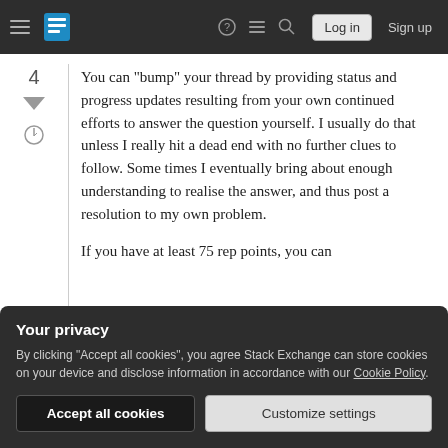Stack Exchange navigation bar with Log in and Sign up buttons
You can "bump" your thread by providing status and progress updates resulting from your own continued efforts to answer the question yourself. I usually do that unless I really hit a dead end with no further clues to follow. Some times I eventually bring about enough understanding to realise the answer, and thus post a resolution to my own problem.

If you have at least 75 rep points, you can
Your privacy
By clicking "Accept all cookies", you agree Stack Exchange can store cookies on your device and disclose information in accordance with our Cookie Policy.
Accept all cookies   Customize settings